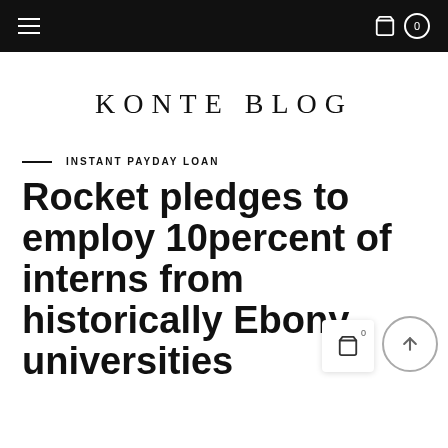Navigation bar with hamburger menu and cart icon showing 0
KONTE BLOG
INSTANT PAYDAY LOAN
Rocket pledges to employ 10percent of interns from historically Ebony universities